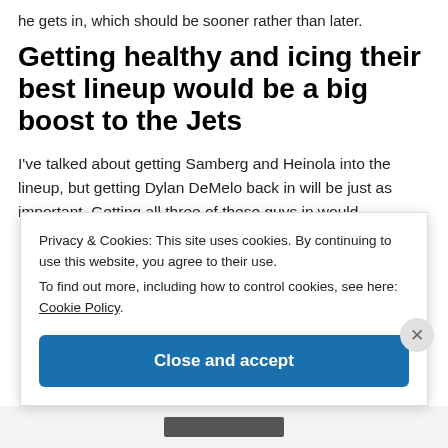he gets in, which should be sooner rather than later.
Getting healthy and icing their best lineup would be a big boost to the Jets
I've talked about getting Samberg and Heinola into the lineup, but getting Dylan DeMelo back in will be just as important. Getting all three of these guys in would...
Privacy & Cookies: This site uses cookies. By continuing to use this website, you agree to their use.
To find out more, including how to control cookies, see here: Cookie Policy
Close and accept